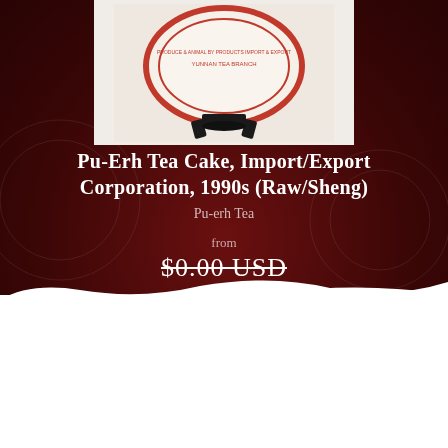[Figure (photo): A round Pu-erh tea cake with Chinese and English text on its label reading 'Yunnan Tea Branch, Produce & Animal By Products Import & Export', displayed on a black stand against a white background.]
Pu-Erh Tea Cake, Import/Export Corporation, 1990s (Raw/Sheng)
Pu-erh Tea
from
$0.00 USD
Quantity
1
Add To Cart »